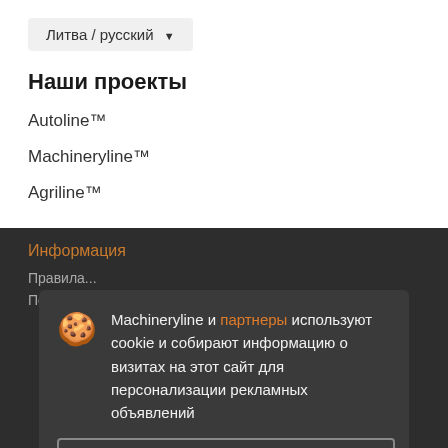Литва / русский
Наши проекты
Autoline™
Machineryline™
Agriline™
Информация
Правила
Политика
Machineryline и партнеры используют cookie и собирают информацию о визитах на этот сайт для персонализации рекламных объявлений
Подробнее
Согласиться и закрыть